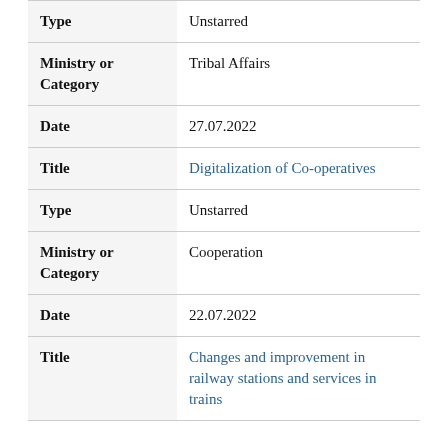| Field | Value |
| --- | --- |
| Type | Unstarred |
| Ministry or
Category | Tribal Affairs |
| Date | 27.07.2022 |
| Title | Digitalization of Co-operatives |
| Type | Unstarred |
| Ministry or
Category | Cooperation |
| Date | 22.07.2022 |
| Title | Changes and improvement in railway stations and services in trains |